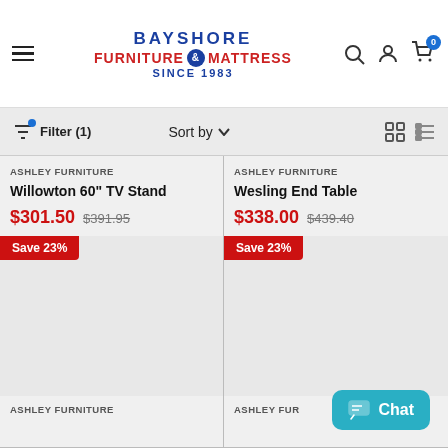BAYSHORE FURNITURE & MATTRESS SINCE 1983
Filter (1)  Sort by  [grid view] [list view]
ASHLEY FURNITURE
Willowton 60" TV Stand
$301.50  $391.95
ASHLEY FURNITURE
Wesling End Table
$338.00  $439.40
Save 23%
Save 23%
ASHLEY FURNITURE
ASHLEY FUR[NITURE]
[Figure (screenshot): Chat button widget with speech bubble icon]